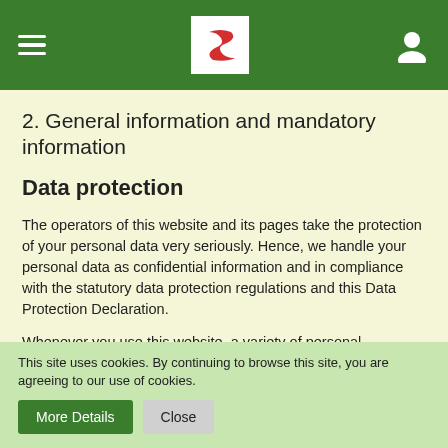Suzuki website header with hamburger menu, Suzuki logo, and user icon
2. General information and mandatory information
Data protection
The operators of this website and its pages take the protection of your personal data very seriously. Hence, we handle your personal data as confidential information and in compliance with the statutory data protection regulations and this Data Protection Declaration.
Whenever you use this website, a variety of personal information will be collected. Personal data comprises data
This site uses cookies. By continuing to browse this site, you are agreeing to our use of cookies.